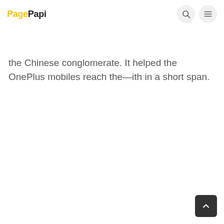PagePapi
the Chinese conglomerate. It helped the OnePlus mobiles reach the—ith in a short span.